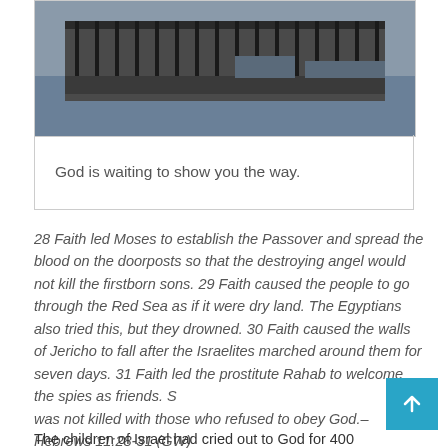[Figure (photo): A dock or pier structure with metal railings and water/harbor in the background, dark industrial scene.]
God is waiting to show you the way.
28 Faith led Moses to establish the Passover and spread the blood on the doorposts so that the destroying angel would not kill the firstborn sons. 29 Faith caused the people to go through the Red Sea as if it were dry land. The Egyptians also tried this, but they drowned. 30 Faith caused the walls of Jericho to fall after the Israelites marched around them for seven days. 31 Faith led the prostitute Rahab to welcome the spies as friends. She was not killed with those who refused to obey God.– Hebrews 11:28-31 (GW)
The children of Israel had cried out to God for 400